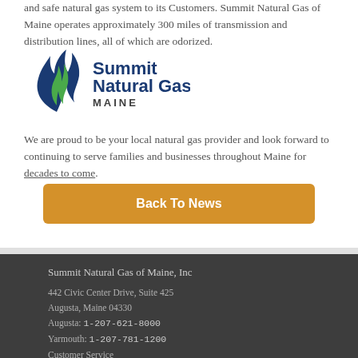and safe natural gas system to its Customers. Summit Natural Gas of Maine operates approximately 300 miles of transmission and distribution lines, all of which are odorized. ... We are proud to be your local natural gas provider and look forward to continuing to serve families and businesses throughout Maine for decades to come.
[Figure (logo): Summit Natural Gas of Maine logo — flame icon with blue and green colors, text reads Summit Natural Gas MAINE]
Back To News
Summit Natural Gas of Maine, Inc
442 Civic Center Drive, Suite 425
Augusta, Maine 04330
Augusta: 1-207-621-8000
Yarmouth: 1-207-781-1200
Customer Service
1-800-909-7642
Fax: 1-207-621-8008